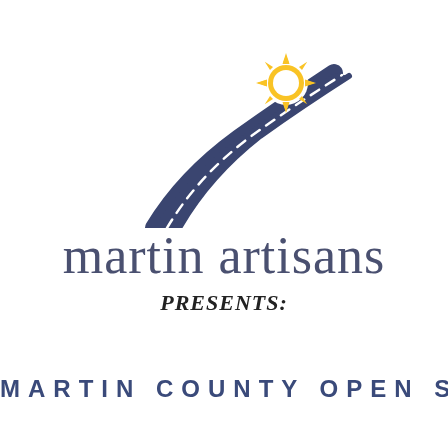[Figure (logo): Martin Artisans logo: a golden sun with rays overlapping a dark navy curved road/path swooping from center-right toward lower left, with a white circle at the sun center and dashed center line on the road. Below the graphic is the text 'martin artisans' in large serif letters in a slate-blue/navy color.]
PRESENTS:
MARTIN COUNTY OPEN STUDIO